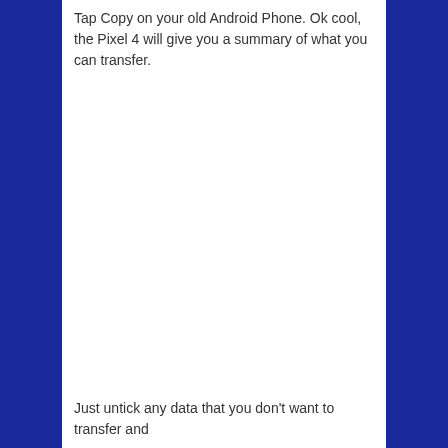Tap Copy on your old Android Phone. Ok cool, the Pixel 4 will give you a summary of what you can transfer.
Just untick any data that you don't want to transfer and